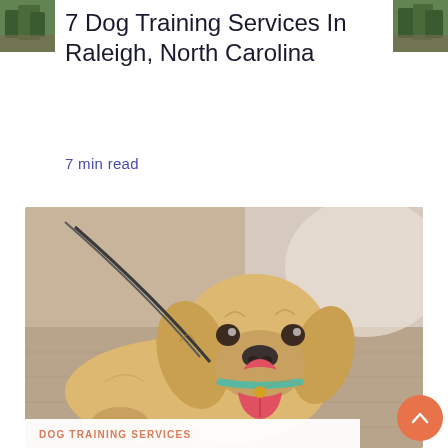[Figure (photo): Small thumbnail photo of trees/greenery, top-left corner]
7 Dog Training Services In Raleigh, North Carolina
[Figure (photo): Small thumbnail photo of trees/greenery, top-right corner]
7  min read
[Figure (photo): Large photo of a golden retriever puppy lying on a wooden surface, tongue out, wearing a teal collar with a leash]
DOG TRAINING SERVICES